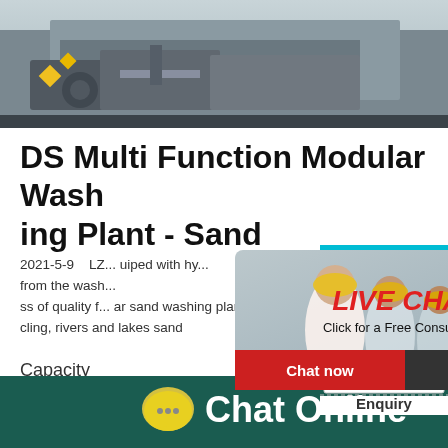[Figure (photo): Industrial machinery/washing plant equipment viewed from below, with yellow accents]
DS Multi Function Modular Washing Plant - Sand
2021-5-9   LZ... uiped with hy... from the wash... ss of quality f... ar sand washing plants are widely used in m... cling, rivers and lakes sand
Capacity
350T/H
[Figure (screenshot): Live Chat popup overlay with workers in hard hats. Text: LIVE CHAT, Click for a Free Consultation, Chat now button (red), Chat later button (dark)]
[Figure (infographic): Right side satisfaction gauge widget on teal background with emoji faces and Click me to chat >> button, plus Enquiry label]
[Figure (infographic): Bottom dark teal bar with yellow chat bubble icon and Chat Online text in white]